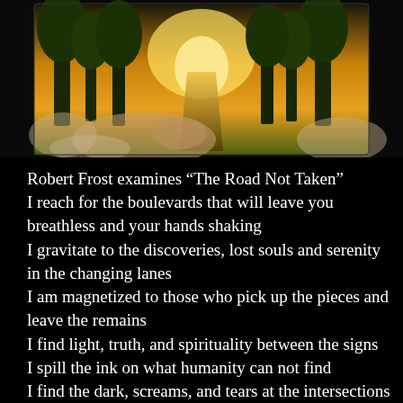[Figure (photo): A hand holding a photograph or tablet showing a sunlit path through autumn trees with golden light, person wearing a fluffy beige coat, dark background]
Robert Frost examines “The Road Not Taken"
I reach for the boulevards that will leave you breathless and your hands shaking
I gravitate to the discoveries, lost souls and serenity in the changing lanes
I am magnetized to those who pick up the pieces and leave the remains
I find light, truth, and spirituality between the signs
I spill the ink on what humanity can not find
I find the dark, screams, and tears at the intersections
I savor the twinkling memories despite the disconnections
I embrace the scenery while driving extremely slow